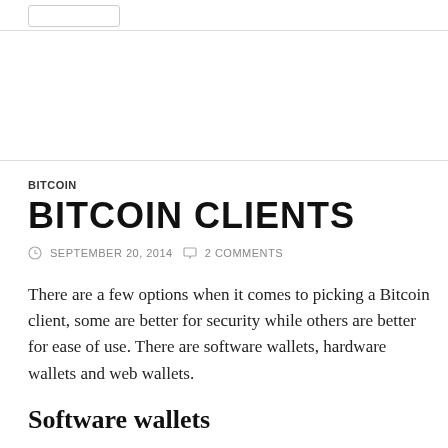[search box / navigation bar]
BITCOIN
BITCOIN CLIENTS
SEPTEMBER 20, 2014   2 COMMENTS
There are a few options when it comes to picking a Bitcoin client, some are better for security while others are better for ease of use.  There are software wallets, hardware wallets and web wallets.
Software wallets
Bitcoin QT – One of the first Bitcoin clients, it's a full client with lots of security features.  The downside is it takes up a lot